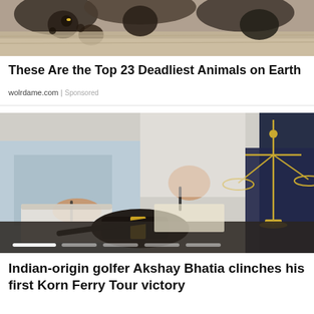[Figure (photo): Close-up photo of animals (possibly birds or reptiles) against a textured background, partially cropped at top]
These Are the Top 23 Deadliest Animals on Earth
wolrdame.com | Sponsored
[Figure (photo): Photo of a legal scene: a judge's gavel in foreground, a justice scale on the right, and two people signing documents in the background. Carousel dots visible at bottom.]
Indian-origin golfer Akshay Bhatia clinches his first Korn Ferry Tour victory